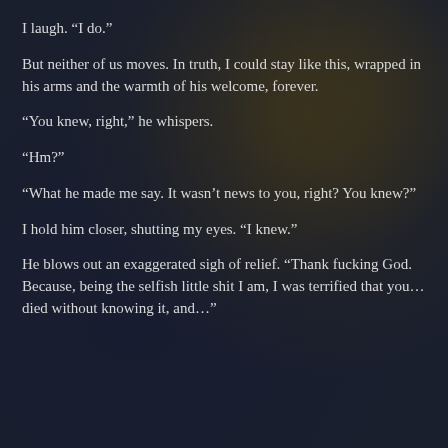I laugh. “I do.”
But neither of us moves. In truth, I could stay like this, wrapped in his arms and the warmth of his welcome, forever.
“You knew, right,” he whispers.
“Hm?”
“What he made me say. It wasn’t news to you, right? You knew?”
I hold him closer, shutting my eyes. “I knew.”
He blows out an exaggerated sigh of relief. “Thank fucking God. Because, being the selfish little shit I am, I was terrified that you… died without knowing it, and…”